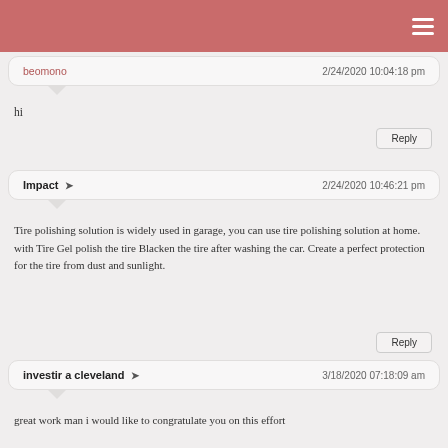beomono  2/24/2020 10:04:18 pm
hi
Impact  ➜  2/24/2020 10:46:21 pm
Tire polishing solution is widely used in garage, you can use tire polishing solution at home. with Tire Gel polish the tire Blacken the tire after washing the car. Create a perfect protection for the tire from dust and sunlight.
investir a cleveland  ➜  3/18/2020 07:18:09 am
great work man i would like to congratulate you on this effort